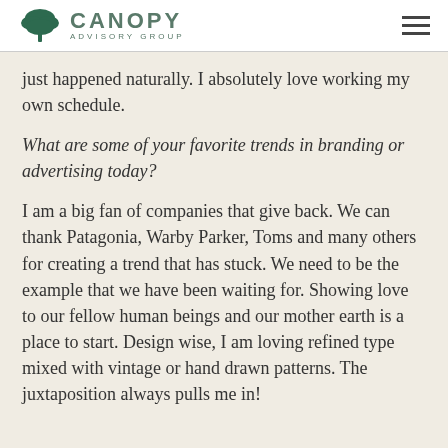Canopy Advisory Group
just happened naturally. I absolutely love working my own schedule.
What are some of your favorite trends in branding or advertising today?
I am a big fan of companies that give back. We can thank Patagonia, Warby Parker, Toms and many others for creating a trend that has stuck. We need to be the example that we have been waiting for. Showing love to our fellow human beings and our mother earth is a place to start. Design wise, I am loving refined type mixed with vintage or hand drawn patterns. The juxtaposition always pulls me in!